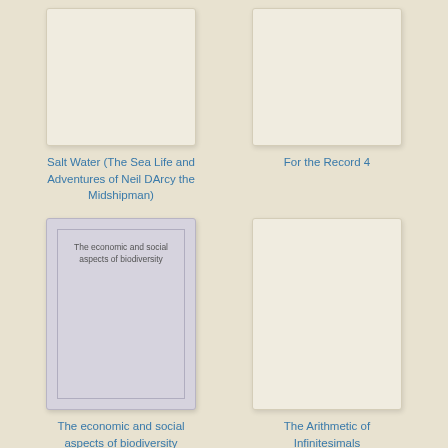[Figure (illustration): Book cover thumbnail - cream/beige blank cover for 'Salt Water (The Sea Life and Adventures of Neil DArcy the Midshipman)']
Salt Water (The Sea Life and Adventures of Neil DArcy the Midshipman)
[Figure (illustration): Book cover thumbnail - cream/beige blank cover for 'For the Record 4']
For the Record 4
[Figure (illustration): Book cover thumbnail - gray cover with text 'The economic and social aspects of biodiversity']
The economic and social aspects of biodiversity
[Figure (illustration): Book cover thumbnail - cream/beige blank tall cover for 'The Arithmetic of Infinitesimals']
The Arithmetic of Infinitesimals